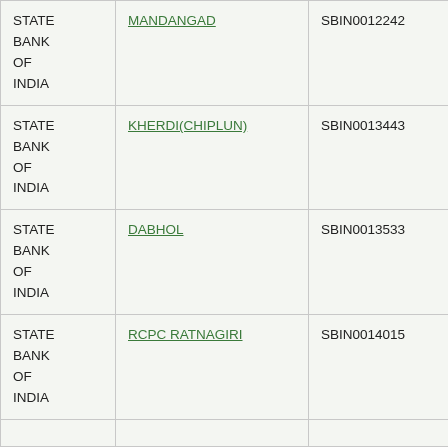| STATE BANK OF INDIA | MANDANGAD | SBIN0012242 | 416002534 |
| STATE BANK OF INDIA | KHERDI(CHIPLUN) | SBIN0013443 | NA |
| STATE BANK OF INDIA | DABHOL | SBIN0013533 | NA |
| STATE BANK OF INDIA | RCPC RATNAGIRI | SBIN0014015 | NA |
|  |  |  |  |